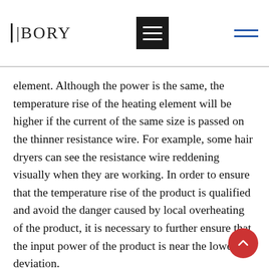BORY
element. Although the power is the same, the temperature rise of the heating element will be higher if the current of the same size is passed on the thinner resistance wire. For example, some hair dryers can see the resistance wire reddening visually when they are working. In order to ensure that the temperature rise of the product is qualified and avoid the danger caused by local overheating of the product, it is necessary to further ensure that the input power of the product is near the lower deviation.
2. When calculating the resistance of the heating wire, the change of the resistance of the heating wire